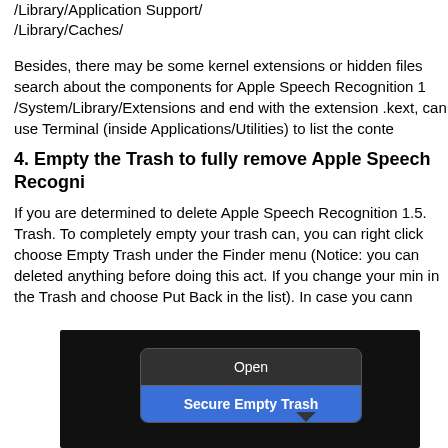/Library/Application Support/
/Library/Caches/
Besides, there may be some kernel extensions or hidden files search about the components for Apple Speech Recognition 1 /System/Library/Extensions and end with the extension .kext, can use Terminal (inside Applications/Utilities) to list the conte
4. Empty the Trash to fully remove Apple Speech Recogni
If you are determined to delete Apple Speech Recognition 1.5. Trash. To completely empty your trash can, you can right click choose Empty Trash under the Finder menu (Notice: you can deleted anything before doing this act. If you change your min in the Trash and choose Put Back in the list). In case you cann
[Figure (screenshot): Screenshot of a macOS context menu on a dark background showing two items: 'Open' and 'Secure Empty Trash' (highlighted in blue), with a downward arrow tooltip pointer at the bottom.]